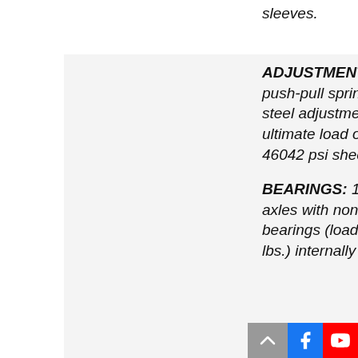sleeves.
ADJUSTMENT PINS: 1/2" push-pull spring loaded solid steel adjustment pins with ultimate load of 9040 lbs. and 46042 psi sheer strength.
BEARINGS: 1" solid steel pivot axles with non-friction 2" sealed bearings (load rating of 2400 lbs.) internally